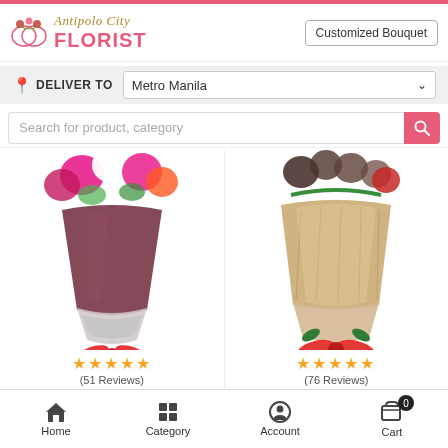Antipolo City FLORIST | Customized Bouquet
DELIVER TO: Metro Manila
Search for product, category
[Figure (photo): Flower bouquet wrapped in dark maroon/brown paper with pink, red and white roses, tied with red and white ribbons at the bottom. Five gold stars rating with (51 Reviews) below.]
[Figure (photo): Flower bouquet wrapped in tan/burlap textured paper, tied with a red ribbon bow at the bottom. Five gold stars rating with (76 Reviews) below.]
Home | Category | Account | Cart 0